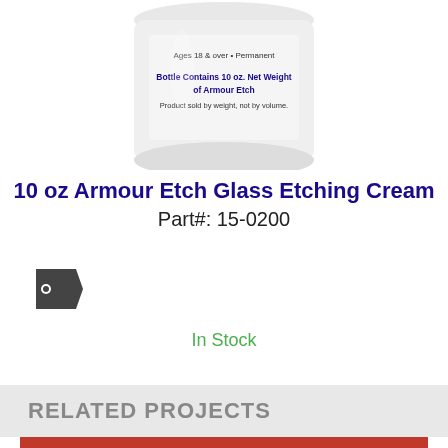[Figure (photo): White cylindrical bottle of Armour Etch Glass Etching Cream, 10 oz, with blue text label reading 'Ages 18 & over - Permanent' and 'Bottle Contains 10 oz. Net Weight of Armour Etch - Product sold by weight, not by volume.']
10 oz Armour Etch Glass Etching Cream
Part#: 15-0200
[Figure (illustration): Price tag icon (dark grey tag with a hole/circle)]
In Stock
RELATED PROJECTS
[Figure (photo): Etched stemless wine glass with 'tis the SEAson' text and octopus/sea creature design etched on glass, photographed against a red background.]